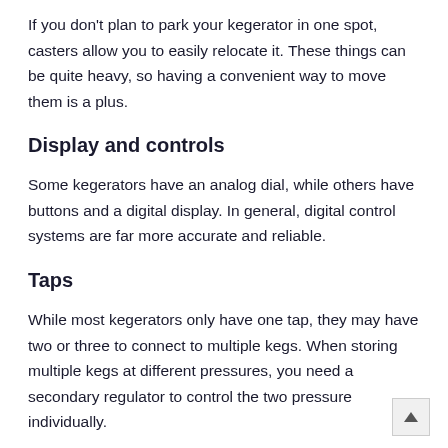If you don't plan to park your kegerator in one spot, casters allow you to easily relocate it. These things can be quite heavy, so having a convenient way to move them is a plus.
Display and controls
Some kegerators have an analog dial, while others have buttons and a digital display. In general, digital control systems are far more accurate and reliable.
Taps
While most kegerators only have one tap, they may have two or three to connect to multiple kegs. When storing multiple kegs at different pressures, you need a secondary regulator to control the two pressures individually.